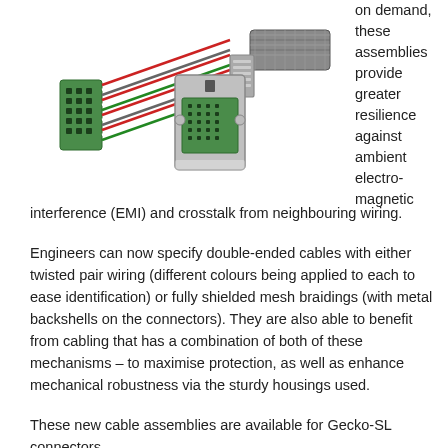[Figure (photo): Photo of electronic cable assemblies with Gecko-SL connectors — green multi-pin connector on the left with ribbon cables in red/white/green, and a metal backshell connector with braided shielding on the right]
on demand, these assemblies provide greater resilience against ambient electromagnetic interference (EMI) and crosstalk from neighbouring wiring.
Engineers can now specify double-ended cables with either twisted pair wiring (different colours being applied to each to ease identification) or fully shielded mesh braidings (with metal backshells on the connectors). They are also able to benefit from cabling that has a combination of both of these mechanisms – to maximise protection, as well as enhance mechanical robustness via the sturdy housings used.
These new cable assemblies are available for Gecko-SL connectors